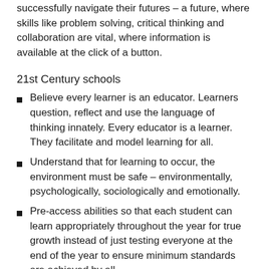successfully navigate their futures – a future, where skills like problem solving, critical thinking and collaboration are vital, where information is available at the click of a button.
21st Century schools
Believe every learner is an educator. Learners question, reflect and use the language of thinking innately. Every educator is a learner. They facilitate and model learning for all.
Understand that for learning to occur, the environment must be safe – environmentally, psychologically, sociologically and emotionally.
Pre-access abilities so that each student can learn appropriately throughout the year for true growth instead of just testing everyone at the end of the year to ensure minimum standards are achieved by all.
Involve learners in developing their own learning plan